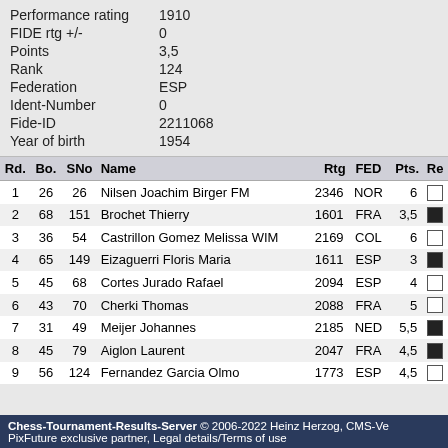| Performance rating | 1910 |
| FIDE rtg +/- | 0 |
| Points | 3,5 |
| Rank | 124 |
| Federation | ESP |
| Ident-Number | 0 |
| Fide-ID | 2211068 |
| Year of birth | 1954 |
| Rd. | Bo. | SNo | Name | Rtg | FED | Pts. | Re |
| --- | --- | --- | --- | --- | --- | --- | --- |
| 1 | 26 | 26 | Nilsen Joachim Birger FM | 2346 | NOR | 6 | □ |
| 2 | 68 | 151 | Brochet Thierry | 1601 | FRA | 3,5 | ■ |
| 3 | 36 | 54 | Castrillon Gomez Melissa WIM | 2169 | COL | 6 | □ |
| 4 | 65 | 149 | Eizaguerri Floris Maria | 1611 | ESP | 3 | ■ |
| 5 | 45 | 68 | Cortes Jurado Rafael | 2094 | ESP | 4 | □ |
| 6 | 43 | 70 | Cherki Thomas | 2088 | FRA | 5 | □ |
| 7 | 31 | 49 | Meijer Johannes | 2185 | NED | 5,5 | ■ |
| 8 | 45 | 79 | Aiglon Laurent | 2047 | FRA | 4,5 | ■ |
| 9 | 56 | 124 | Fernandez Garcia Olmo | 1773 | ESP | 4,5 | □ |
Chess-Tournament-Results-Server © 2006-2022 Heinz Herzog, CMS-Ve PixFuture exclusive partner, Legal details/Terms of use